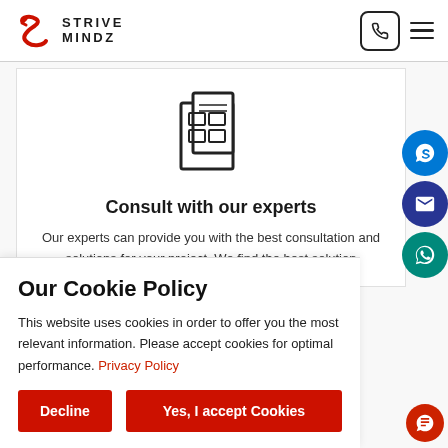Strive Mindz — navigation header with logo, phone button, and hamburger menu
[Figure (illustration): Icon of a newspaper or document with grid layout]
Consult with our experts
Our experts can provide you with the best consultation and solutions for your project. We find the best solution
Our Cookie Policy
This website uses cookies in order to offer you the most relevant information. Please accept cookies for optimal performance. Privacy Policy
Decline | Yes, I accept Cookies